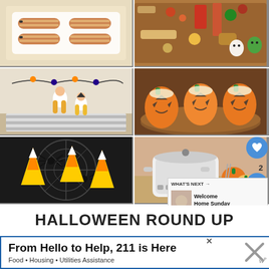[Figure (photo): 6-photo grid of Halloween food and party ideas: mummy hot dogs, Halloween charcuterie board, kids in Halloween costumes, jack-o-lantern bell peppers, candy corn dessert on spiderweb stand, slow cooker with pumpkins]
HALLOWEEN ROUND UP
From Hello to Help, 211 is Here
Food • Housing • Utilities Assistance